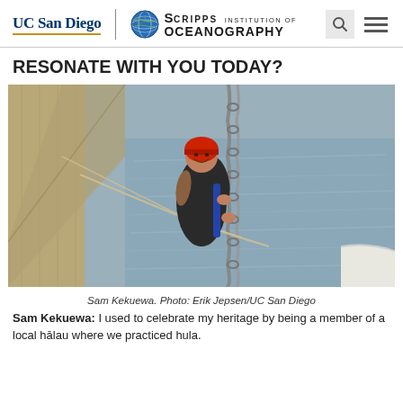UC San Diego | Scripps Institution of Oceanography
RESONATE WITH YOU TODAY?
[Figure (photo): Sam Kekuewa wearing a red helmet and black wetsuit, smiling while holding a chain aboard a research vessel with water in the background.]
Sam Kekuewa. Photo: Erik Jepsen/UC San Diego
Sam Kekuewa: I used to celebrate my heritage by being a member of a local hālau where we practiced hula.